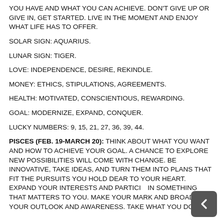YOU HAVE AND WHAT YOU CAN ACHIEVE. DON'T GIVE UP OR GIVE IN, GET STARTED. LIVE IN THE MOMENT AND ENJOY WHAT LIFE HAS TO OFFER.
SOLAR SIGN: AQUARIUS.
LUNAR SIGN: TIGER.
LOVE: INDEPENDENCE, DESIRE, REKINDLE.
MONEY: ETHICS, STIPULATIONS, AGREEMENTS.
HEALTH: MOTIVATED, CONSCIENTIOUS, REWARDING.
GOAL: MODERNIZE, EXPAND, CONQUER.
LUCKY NUMBERS: 9, 15, 21, 27, 36, 39, 44.
PISCES (FEB. 19-MARCH 20): THINK ABOUT WHAT YOU WANT AND HOW TO ACHIEVE YOUR GOAL. A CHANCE TO EXPLORE NEW POSSIBILITIES WILL COME WITH CHANGE. BE INNOVATIVE, TAKE IDEAS, AND TURN THEM INTO PLANS THAT FIT THE PURSUITS YOU HOLD DEAR TO YOUR HEART. EXPAND YOUR INTERESTS AND PARTICIPATE IN SOMETHING THAT MATTERS TO YOU. MAKE YOUR MARK AND BROADEN YOUR OUTLOOK AND AWARENESS. TAKE WHAT YOU DO